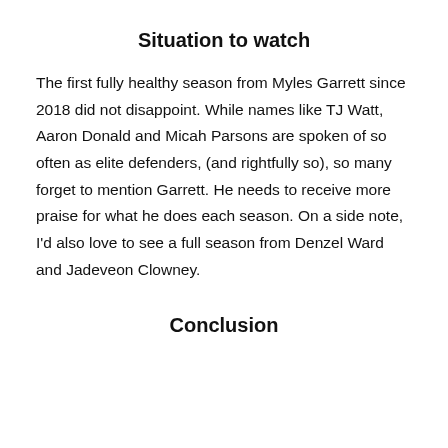Situation to watch
The first fully healthy season from Myles Garrett since 2018 did not disappoint.  While names like TJ Watt, Aaron Donald and Micah Parsons are spoken of so often as elite defenders, (and rightfully so), so many forget to mention Garrett.   He needs to receive more praise for what he does each season.  On a side note, I’d also love to see a full season from Denzel Ward and Jadeveon Clowney.
Conclusion